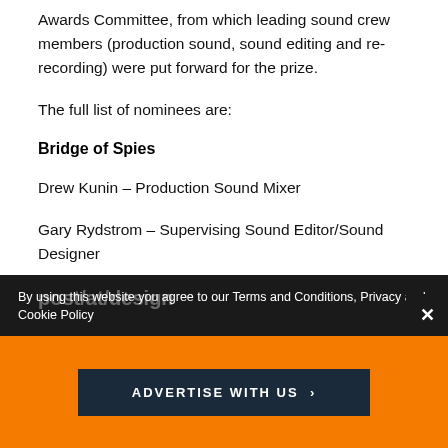Awards Committee, from which leading sound crew members (production sound, sound editing and re-recording) were put forward for the prize.
The full list of nominees are:
Bridge of Spies
Drew Kunin – Production Sound Mixer
Gary Rydstrom – Supervising Sound Editor/Sound Designer
Andy Nelson – Re-recording Mixer
By using this website you agree to our Terms and Conditions, Privacy and Cookie Policy
[Figure (other): Orange advertisement bar with 'ADVERTISE WITH US >' button and close X button]